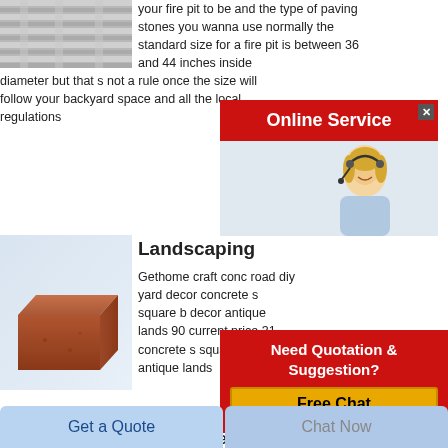[Figure (photo): Gray striped architectural photo at top left]
your fire pit to be and the type of paving stones you wanna use normally the standard size for a fire pit is between 36 and 44 inches inside diameter but that s not a rule once the size will follow your backyard space and all the local regulations
[Figure (infographic): Online Service popup with red header bar, close X button, and customer service representative photo with headset]
[Figure (photo): Brown rectangular brick on light blue/gray background]
Landscaping
Gethome craft conc road diy yard decor concrete s square b decor antique lands 90 current price 31 concrete s square b decor antique lands
[Figure (infographic): Need Quotation & Suggestion? red popup with Free Chat yellow button and customer service photo]
Get Price
[Figure (photo): Dark gray photo at bottom left, partially visible]
Curved Fire Brick Five 5 Total
Get a Quote
Chat Now